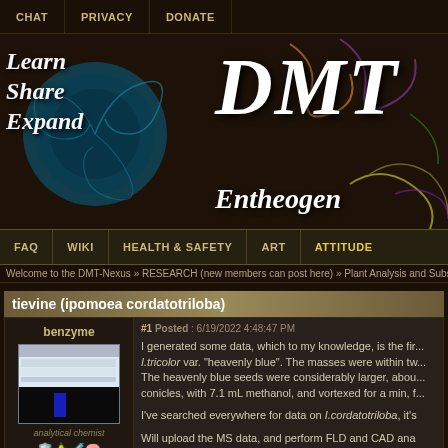CHAT | PRIVACY | DONATE
[Figure (screenshot): DMT-Nexus website banner with 'Learn Share Expand' text and decorative DMT Entheogen logo on dark background]
FAQ | WIKI | HEALTH & SAFETY | ART | ATTITUDE
Welcome to the DMT-Nexus » RESEARCH (new members can post here) » Plant Analysis and Subs
tievine (ipomoea cordatotriloba)
benzyme
#1 Posted : 6/19/2022 4:48:47 PM
[Figure (screenshot): Small screenshot of analytical software showing data tables and a dark/black spectrum or chromatogram]
analytical chemist
Posts: 7432
Joined: 21 May 2009
I generated some data, which to my knowledge, is the fir... I.tricolor var. "heavenly blue". The masses were within tw... The heavenly blue seeds were considerably larger, abou... conicles, with 7.1 mL methanol, and vortexed for a min, f...
I've searched everywhere for data on I.cordatotriloba, it's
Will upload the MS data, and perform FLD and CAD ana